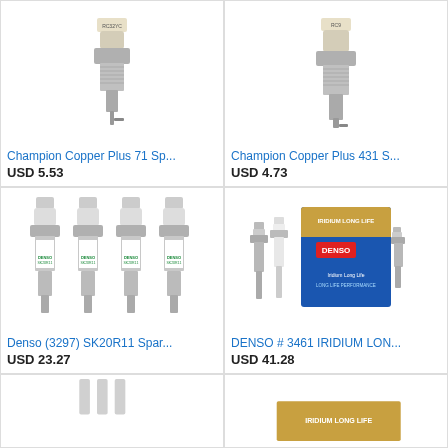[Figure (photo): Single Champion Copper Plus 71 spark plug, silver metallic, white ceramic insulator with RC32YC label]
Champion Copper Plus 71 Sp...
USD 5.53
[Figure (photo): Single Champion Copper Plus 431 spark plug, silver metallic, white ceramic insulator with RC9 label]
Champion Copper Plus 431 S...
USD 4.73
[Figure (photo): Four Denso SK20R11 spark plugs with white ceramic insulators and green DENSO text]
Denso (3297) SK20R11 Spar...
USD 23.27
[Figure (photo): DENSO Iridium Long Life spark plugs package showing blue and gold box with multiple spark plugs]
DENSO # 3461 IRIDIUM LON...
USD 41.28
[Figure (photo): Partial view of spark plug product at bottom left, mostly white]
[Figure (photo): Partial view of DENSO Iridium Long Life box at bottom right, gold/orange packaging with text visible]